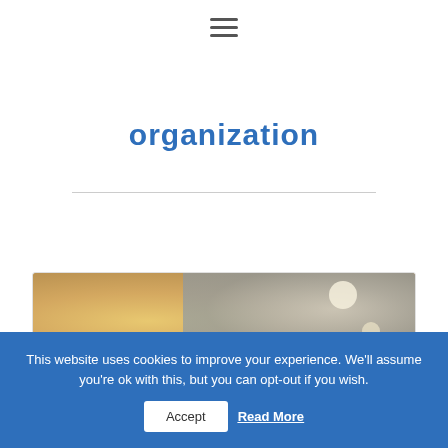[Figure (other): Hamburger menu icon with three horizontal lines]
organization
[Figure (photo): Blurred interior photo showing warm-toned hallway or room]
This website uses cookies to improve your experience. We'll assume you're ok with this, but you can opt-out if you wish.
Accept
Read More